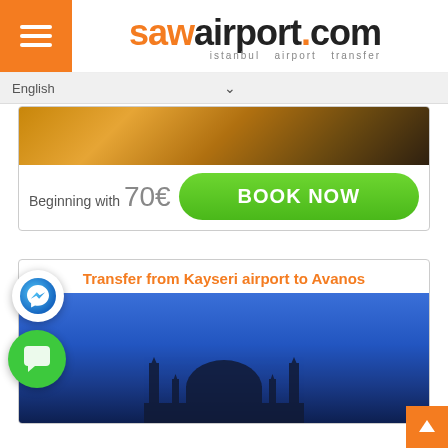[Figure (logo): sawairport.com logo with orange 'saw' and dark 'airport.com' text, subtitle 'istanbul airport transfer']
English
[Figure (photo): Partial photo of golden illuminated rock formations (Cappadocia) at night]
Beginning with 70€
[Figure (other): Green BOOK NOW button]
Transfer from Kayseri airport to Avanos
[Figure (photo): Blue sky photo with mosque silhouette at bottom, messenger and green chat floating buttons visible]